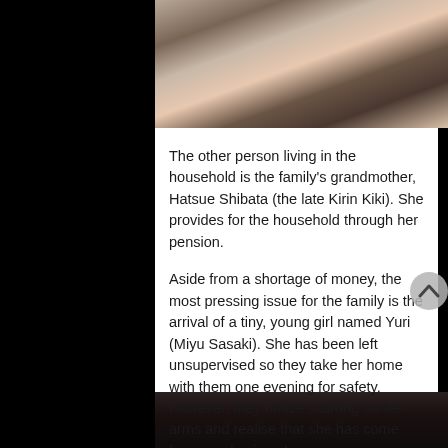[Figure (photo): Two people lying down, one in a pink top, appearing to interact closely; photo cropped at top]
The other person living in the household is the family's grandmother, Hatsue Shibata (the late Kirin Kiki). She provides for the household through her pension.
Aside from a shortage of money, the most pressing issue for the family is the arrival of a tiny, young girl named Yuri (Miyu Sasaki). She has been left unsupervised so they take her home with them one evening for safety. However, they notice scarring on her arms and realise that she has come from an abusive place.
[Figure (photo): Dark, partially visible scene at bottom of page, dimly lit]